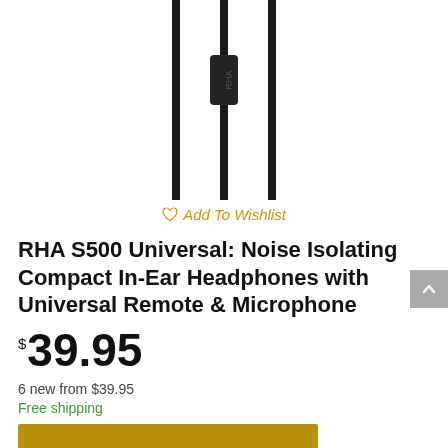[Figure (photo): Product photo of RHA S500 in-ear headphone cable showing three thin black cables with a remote/microphone module, viewed from above against white background — partial crop showing cable strings only]
♡ Add To Wishlist
RHA S500 Universal: Noise Isolating Compact In-Ear Headphones with Universal Remote & Microphone
$39.95
6 new from $39.95
Free shipping